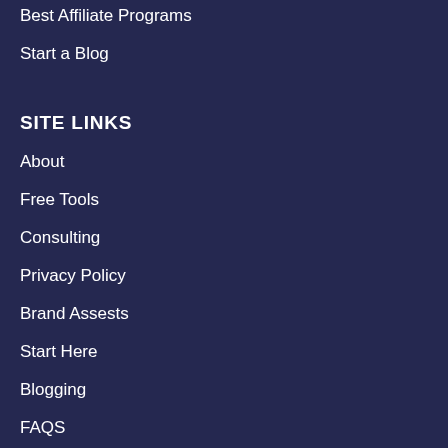Best Affiliate Programs
Start a Blog
SITE LINKS
About
Free Tools
Consulting
Privacy Policy
Brand Assests
Start Here
Blogging
FAQS